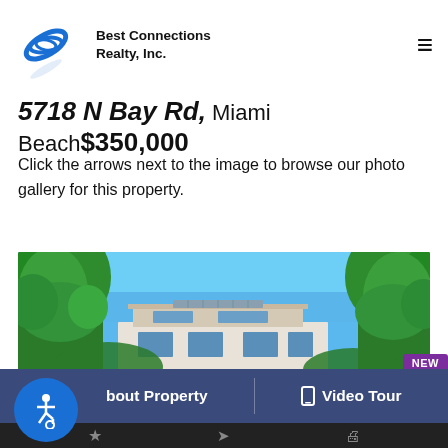Best Connections Realty, Inc.
5718 N Bay Rd, Miami Beach $350,000
Click the arrows next to the image to browse our photo gallery for this property.
[Figure (photo): Exterior photo of a modern white house with flat roof surrounded by lush green trees under a bright blue sky.]
NEW
bout Property  Video Tour